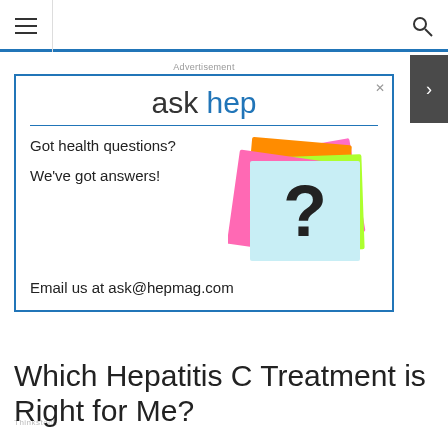Navigation bar with hamburger menu and search icon
[Figure (screenshot): Ask Hep advertisement box with 'ask hep' logo, sticky notes image with question mark, text 'Got health questions? We've got answers! Email us at ask@hepmag.com']
Thinkstock
Which Hepatitis C Treatment is Right for Me?